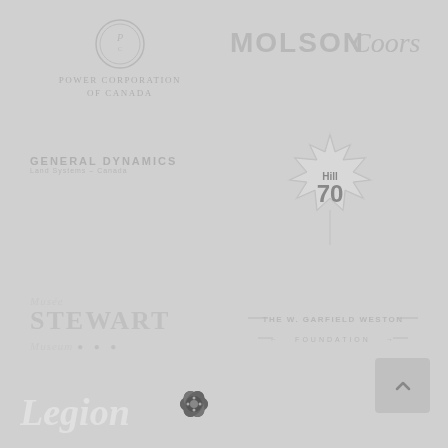[Figure (logo): Power Corporation of Canada logo - circular emblem above text]
[Figure (logo): Molson Coors logo - bold sans-serif MOLSON with italic script Coors]
[Figure (logo): General Dynamics Land Systems - Canada logo]
[Figure (logo): Hill 70 logo - maple leaf shape with Hill 70 text inside]
[Figure (logo): Musée Stewart Museum logo]
[Figure (logo): The W. Garfield Weston Foundation logo]
[Figure (logo): Legion logo with poppy flower emblem]